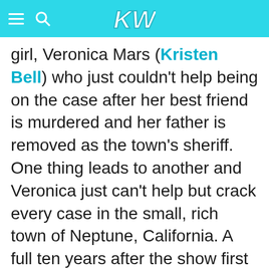KW
girl, Veronica Mars (Kristen Bell) who just couldn't help being on the case after her best friend is murdered and her father is removed as the town's sheriff. One thing leads to another and Veronica just can't help but crack every case in the small, rich town of Neptune, California. A full ten years after the show first started, fans raised a record-breaking $5,702,153 on Kickstarter to get this movie made, and it looks like they got all the answers they were looking for - and undoubtedly got some new fans on the Veronica Mars bandwagon as well. BTW,